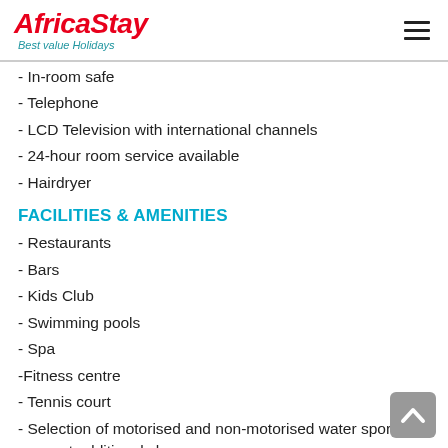[Figure (logo): AfricaStay logo with red italic bold text and blue tagline 'Best value Holidays']
- In-room safe
- Telephone
- LCD Television with international channels
- 24-hour room service available
- Hairdryer
FACILITIES & AMENITIES
- Restaurants
- Bars
- Kids Club
- Swimming pools
- Spa
-Fitness centre
- Tennis court
- Selection of motorised and non-motorised water sports, some at additional charge